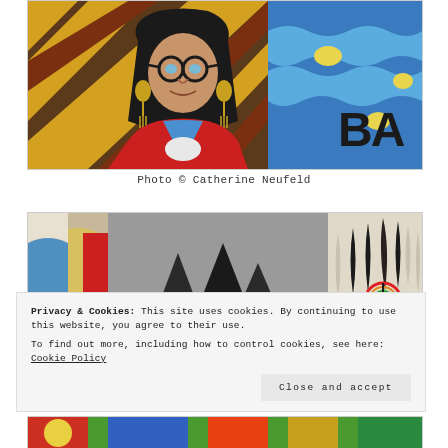[Figure (photo): Colorful mural painting of a woman with glasses, long black hair, wearing red garments with blue accents, gold hoop earrings. Behind her is a diagonal yellow and brown striped pattern and on the right a blue and yellow section with the letters 'BA' visible.]
Photo © Catherine Neufeld
[Figure (photo): Colorful mural showing a large Native American headdress with black and white feathers, a rainbow peace symbol, and abstract shapes including a yellow circle on the left against gray and beige tones.]
Privacy & Cookies: This site uses cookies. By continuing to use this website, you agree to their use.
To find out more, including how to control cookies, see here: Cookie Policy
[Figure (photo): Partial view of another colorful mural at the bottom of the page, showing bright greens, reds, and other colors.]